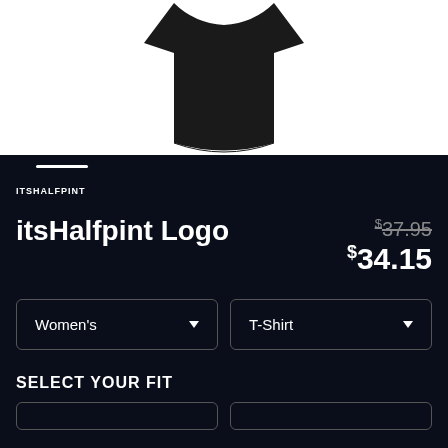[Figure (photo): Black t-shirt product photo shown from the back, displayed on a white background. The shirt has a curved hem.]
ITSHALFPINT
itsHalfpint Logo
$37.95 $34.15
Women's T-Shirt
SELECT YOUR FIT